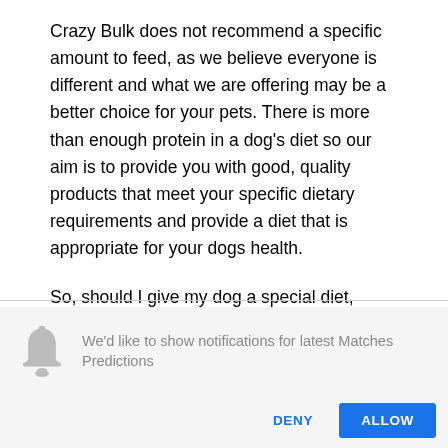Crazy Bulk does not recommend a specific amount to feed, as we believe everyone is different and what we are offering may be a better choice for your pets. There is more than enough protein in a dog's diet so our aim is to provide you with good, quality products that meet your specific dietary requirements and provide a diet that is appropriate for your dogs health.
So, should I give my dog a special diet, crazy bulk order?
We'd like to show notifications for latest Matches Predictions